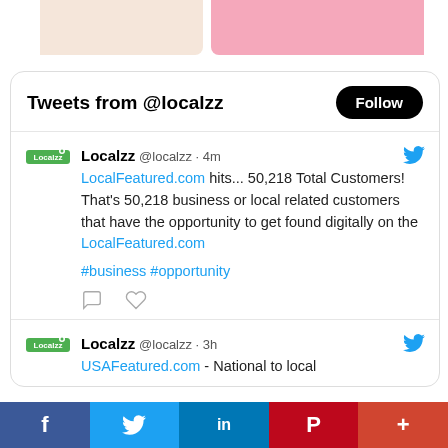[Figure (illustration): Two colored rectangles at the top: left is beige/light orange, right is pink]
Tweets from @localzz
Localzz @localzz · 4m
LocalFeatured.com hits... 50,218 Total Customers!
That's 50,218 business or local related customers that have the opportunity to get found digitally on the LocalFeatured.com
#business #opportunity
Localzz @localzz · 3h
USAFeatured.com - National to local
[Figure (infographic): Social sharing bar with Facebook, Twitter, LinkedIn, Pinterest, and More buttons]